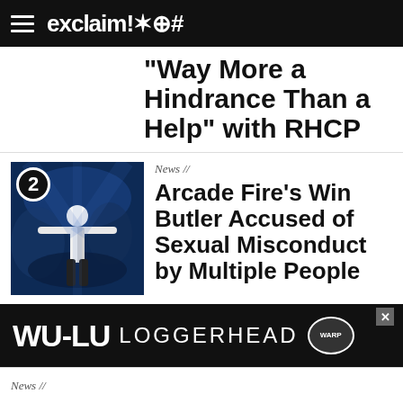exclaim!✶⊕#
"Way More a Hindrance Than a Help" with RHCP
[Figure (photo): Performer on stage with arms outstretched, wearing white jacket, blue stage lighting, numbered badge 2]
News //
Arcade Fire's Win Butler Accused of Sexual Misconduct by Multiple People
[Figure (illustration): Venn diagram meme showing 'Index', 'Excel', and 'Incorrectly assuming something is a date' in overlapping circles, numbered badge 3]
Features //
This Funny Week in Funny Tweets: August 26, 2022
[Figure (other): WU-LU LOGGERHEAD advertisement banner with logo badge]
News //